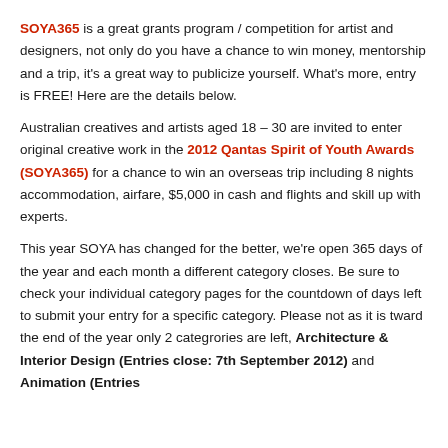SOYA365 is a great grants program / competition for artist and designers, not only do you have a chance to win money, mentorship and a trip, it's a great way to publicize yourself. What's more, entry is FREE! Here are the details below.
Australian creatives and artists aged 18 – 30 are invited to enter original creative work in the 2012 Qantas Spirit of Youth Awards (SOYA365) for a chance to win an overseas trip including 8 nights accommodation, airfare, $5,000 in cash and flights and skill up with experts.
This year SOYA has changed for the better, we're open 365 days of the year and each month a different category closes. Be sure to check your individual category pages for the countdown of days left to submit your entry for a specific category. Please not as it is tward the end of the year only 2 categrories are left, Architecture & Interior Design (Entries close: 7th September 2012) and Animation (Entries